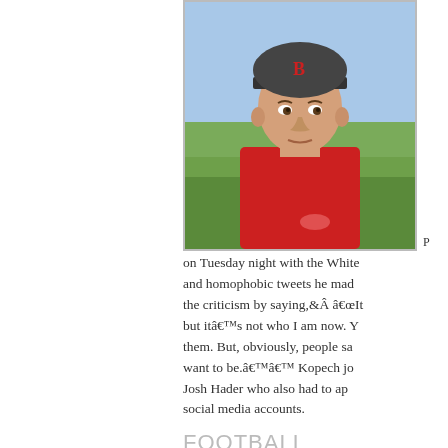[Figure (photo): Young baseball player wearing a Boston Red Sox cap and red jersey, outdoor stadium background]
on Tuesday night with the White... and homophobic tweets he mad... the criticism by saying,Â “It... but it’s not who I am now. Y... them. But, obviously, people sa... want to be.’’ Kopech jo... Josh Hader who also had to ap... social media accounts.
FOOTBALL
San Francisco 49ers cornerba... called Daily Number. As a co-fo... to own or co-own a fantasy gam...